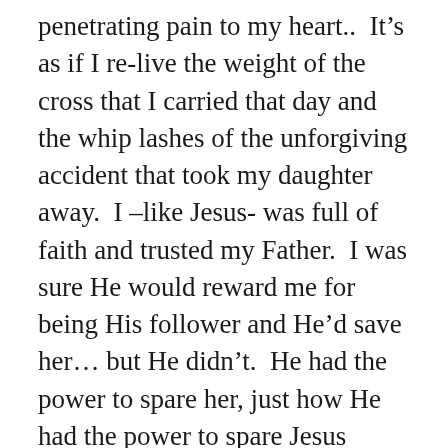penetrating pain to my heart..  It's as if I re-live the weight of the cross that I carried that day and the whip lashes of the unforgiving accident that took my daughter away.  I –like Jesus- was full of faith and trusted my Father.  I was sure He would reward me for being His follower and He'd save her… but He didn't.  He had the power to spare her, just how He had the power to spare Jesus when he asked for mercy: “My Father, if it is possible, may this cup be taken from me.”